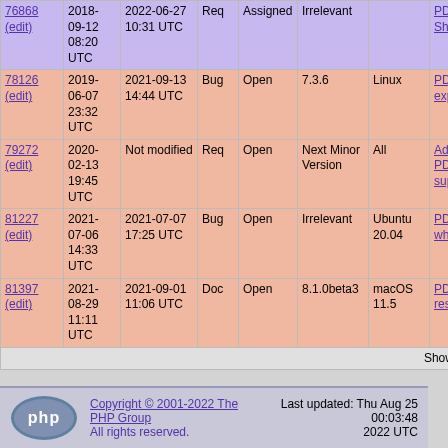| ID | Reported | Modified | Type | Status | Version | OS | Summary |
| --- | --- | --- | --- | --- | --- | --- | --- |
| 76868 (edit) | 2018-09-12 08:20 UTC | 2022-06-27 10:31 UTC | Req | Assigned | Irrelevant |  | PDO SQ... Shared C... |
| 78126 (edit) | 2019-06-07 23:32 UTC | 2021-09-13 14:44 UTC | Bug | Open | 7.3.6 | Linux | PDO::sq... exposed... |
| 79272 (edit) | 2020-02-13 19:45 UTC | Not modified | Req | Open | Next Minor Version | All | Add PDO::AT... support f... |
| 81227 (edit) | 2021-07-06 14:33 UTC | 2021-07-07 17:25 UTC | Bug | Open | Irrelevant | Ubuntu 20.04 | PDO::in7... when in 1... |
| 81397 (edit) | 2021-08-29 11:11 UTC | 2021-09-01 11:06 UTC | Doc | Open | 8.1.0beta3 | macOS 11.5 | PDO_sq... results a... |
Showing 1-8 of 8
Copyright © 2001-2022 The PHP Group. All rights reserved. Last updated: Thu Aug 25 00:03:48 2022 UTC